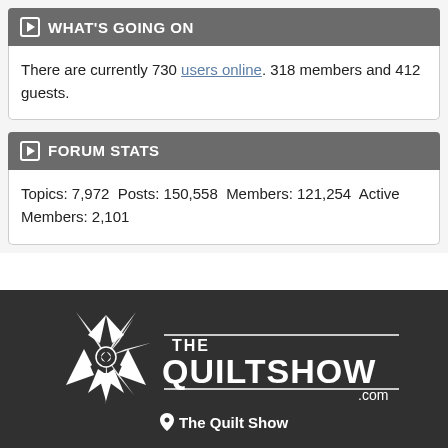WHAT'S GOING ON
There are currently 730 users online. 318 members and 412 guests.
FORUM STATS
Topics: 7,972  Posts: 150,558  Members: 121,254  Active Members: 2,101
[Figure (logo): The Quilt Show .com logo — white star/pinwheel graphic on dark background with text 'THE QUILTSHOW .com']
The Quilt Show